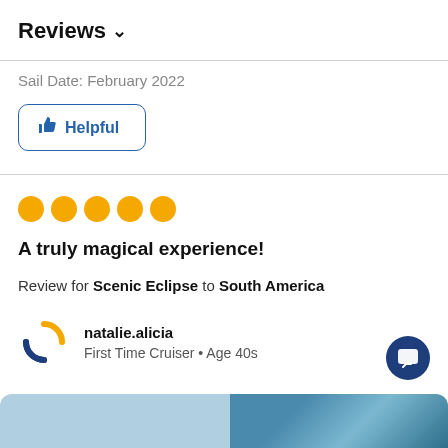Reviews ∨
Sail Date: February 2022
👍 Helpful
[Figure (other): 5 orange filled circles representing a 5-star rating]
A truly magical experience!
Review for Scenic Eclipse to South America
natalie.alicia
First Time Cruiser • Age 40s
[Figure (logo): Cruise Critic member logo with orange and blue C arc and MEMBER text below]
[Figure (other): Blue circular chat/message button icon in bottom right]
[Figure (photo): Two partial image thumbnails at the bottom of the page, left is light blue/grey, right shows a cruise ship scene]